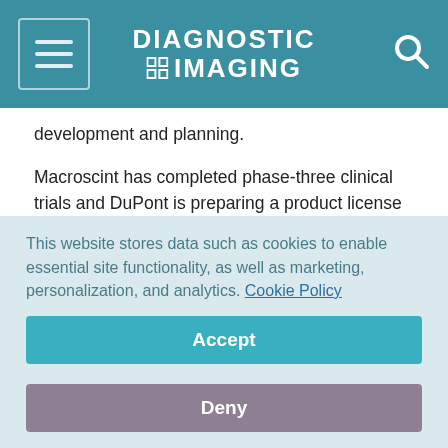DIAGNOSTIC IMAGING
development and planning.
Macroscint has completed phase-three clinical trials and DuPont is preparing a product license application (PLA) to the Foodand Drug Administration.
Du Pont will pay a licensing fee to Ortho for sales of Macroscintas part of the deal. In addition, Du Pont will acquire exclusiverights relating to basic research technology involving
This website stores data such as cookies to enable essential site functionality, as well as marketing, personalization, and analytics. Cookie Policy
Accept
Deny